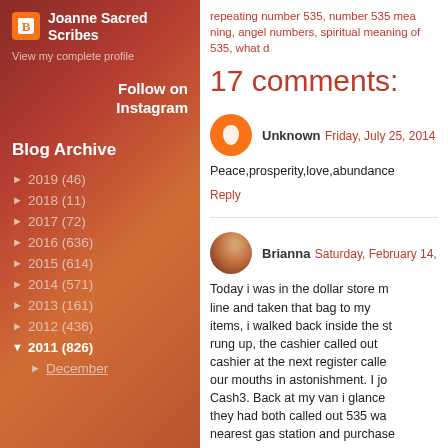Joanne Sacred Scribes
View my complete profile
Follow on Instagram
Blog Archive
► 2019 (46)
► 2018 (11)
► 2017 (72)
► 2016 (636)
► 2015 (614)
► 2014 (571)
► 2013 (161)
► 2012 (436)
▼ 2011 (826)
► December
repeating number 535, number 535 meaning, angel numbers, spiritual meaning of 535, what d
17 comments:
Unknown  Friday, July 25, 2014
Peace,prosperity,love,abundance
Reply
Brianna  Saturday, February 14,
Today i was in the dollar store m line and taken that bag to my items, i walked back inside the st rung up, the cashier called out cashier at the next register calle our mouths in astonishment. I jo Cash3. Back at my van i glance they had both called out 535 wa nearest gas station and purchase I couldn't wait to get home and h